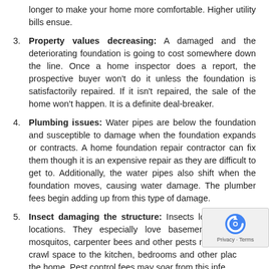longer to make your home more comfortable. Higher utility bills ensue.
3. Property values decreasing: A damaged and the deteriorating foundation is going to cost somewhere down the line. Once a home inspector does a report, the prospective buyer won't do it unless the foundation is satisfactorily repaired. If it isn't repaired, the sale of the home won't happen. It is a definite deal-breaker.
4. Plumbing issues: Water pipes are below the foundation and susceptible to damage when the foundation expands or contracts. A home foundation repair contractor can fix them though it is an expensive repair as they are difficult to get to. Additionally, the water pipes also shift when the foundation moves, causing water damage. The plumber fees begin adding up from this type of damage.
5. Insect damaging the structure: Insects love dark, wet locations. They especially love basements. Termites, mosquitos, carpenter bees and other pests move from the crawl space to the kitchen, bedrooms and other places in the home. Pest control fees may soar from this infestation.
6. Structural damage continuing: We've covered this before: